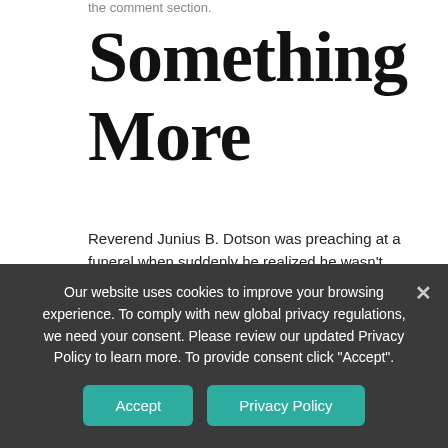the comment section.
Something More
Reverend Junius B. Dotson was preaching at a funeral when suddenly he realized he wasn't going to make it through the service. The next thing he knew, he was in an ambulance on the way to the ER, where he was diagnosed with extreme exhaustion. Read more about his Soul Reset.
Our website uses cookies to improve your browsing experience. To comply with new global privacy regulations, we need your consent. Please review our updated Privacy Policy to learn more. To provide consent click "Accept".